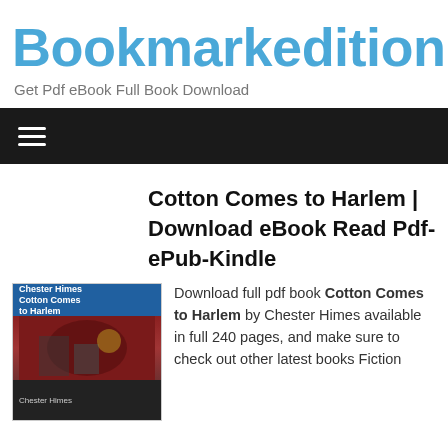Bookmarkedition.
Get Pdf eBook Full Book Download
[Figure (other): Navigation bar with hamburger menu icon on dark background]
Cotton Comes to Harlem | Download eBook Read Pdf-ePub-Kindle
[Figure (photo): Book cover of Cotton Comes to Harlem by Chester Himes]
Download full pdf book Cotton Comes to Harlem by Chester Himes available in full 240 pages, and make sure to check out other latest books Fiction